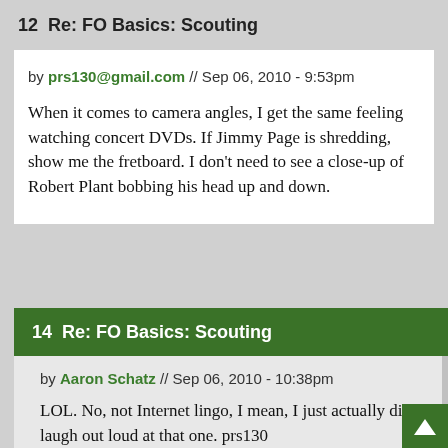12  Re: FO Basics: Scouting
by prs130@gmail.com // Sep 06, 2010 - 9:53pm
When it comes to camera angles, I get the same feeling watching concert DVDs. If Jimmy Page is shredding, show me the fretboard. I don't need to see a close-up of Robert Plant bobbing his head up and down.
14  Re: FO Basics: Scouting
by Aaron Schatz // Sep 06, 2010 - 10:38pm
LOL. No, not Internet lingo, I mean, I just actually did laugh out loud at that one. prs130 FTW.